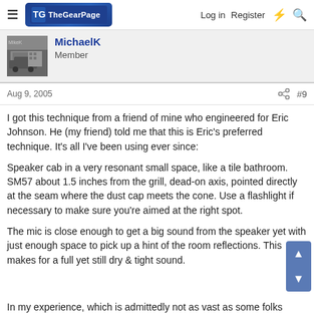The Gear Page — Log in | Register
MichaelK
Member
Aug 9, 2005  #9
I got this technique from a friend of mine who engineered for Eric Johnson. He (my friend) told me that this is Eric's preferred technique. It's all I've been using ever since:
Speaker cab in a very resonant small space, like a tile bathroom. SM57 about 1.5 inches from the grill, dead-on axis, pointed directly at the seam where the dust cap meets the cone. Use a flashlight if necessary to make sure you're aimed at the right spot.
The mic is close enough to get a big sound from the speaker yet with just enough space to pick up a hint of the room reflections. This makes for a full yet still dry & tight sound.
In my experience, which is admittedly not as vast as some folks